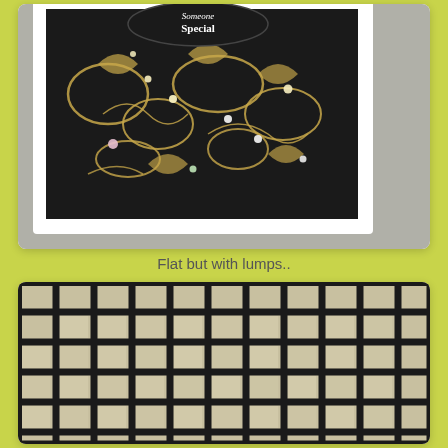[Figure (photo): A decorative handmade greeting card with white frame, black background with gold floral pattern and rhinestone gems, partially showing text 'Someone Special' at top on an oval label, photographed at an angle on a concrete surface.]
Flat but with lumps..
[Figure (photo): Close-up photo of a black grid pattern on a light/silver background, resembling mosaic tiles or a grid embossing template, showing small square cells arranged in rows and columns.]